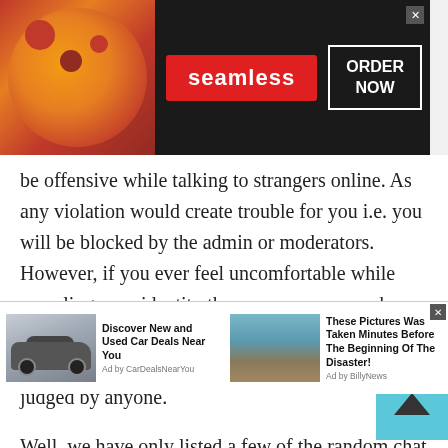[Figure (screenshot): Seamless food delivery banner advertisement with pizza image on left, red Seamless logo in center, and ORDER NOW button in white box on right. Close X button at top right.]
be offensive while talking to strangers online. As any violation would create trouble for you i.e. you will be blocked by the admin or moderators. However, if you ever feel uncomfortable while revealing your identity then anonymous prank calls are for sure the best option. You can freely talk to people without feeling worried or being judged by anyone.

Well, we have only listed a few of the random chat rooms and features. There are a lot more chat rooms
[Figure (screenshot): Bottom advertisement bar with two ads: 'Discover New and Used Car Deals Near You' by CarDealsNearYou with car image, and 'These Pictures Was Taken Minutes Before The Beginning Of The Disaster!' by BillyNews with flood image.]